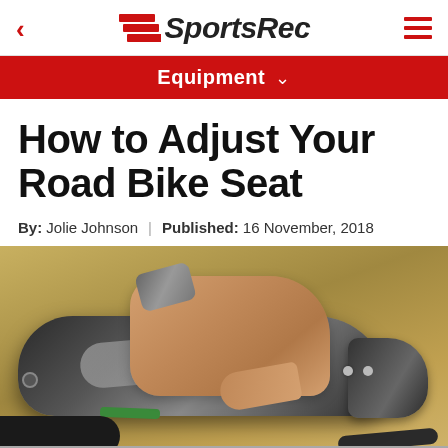SportsRec
Equipment
How to Adjust Your Road Bike Seat
By: Jolie Johnson | Published: 16 November, 2018
[Figure (photo): A hand gripping a black road bike saddle, with a wristband visible. Outdoors background.]